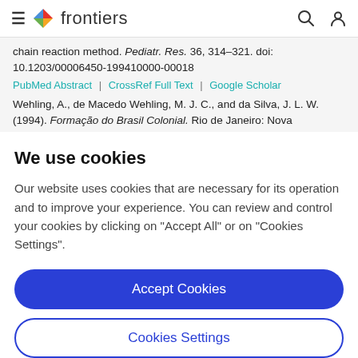frontiers
chain reaction method. Pediatr. Res. 36, 314–321. doi: 10.1203/00006450-199410000-00018
PubMed Abstract | CrossRef Full Text | Google Scholar
Wehling, A., de Macedo Wehling, M. J. C., and da Silva, J. L. W. (1994). Formação do Brasil Colonial. Rio de Janeiro: Nova
We use cookies
Our website uses cookies that are necessary for its operation and to improve your experience. You can review and control your cookies by clicking on "Accept All" or on "Cookies Settings".
Accept Cookies
Cookies Settings